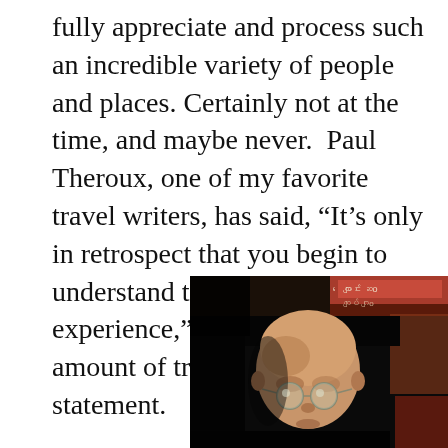fully appreciate and process such an incredible variety of people and places. Certainly not at the time, and maybe never.  Paul Theroux, one of my favorite travel writers, has said, “It’s only in retrospect that you begin to understand the travel experience,” and there’s a huge amount of truth in that short statement.
[Figure (photo): A bald elderly man with round glasses, photographed from above in a dimly lit room. Behind him is a dark background with what appears to be signage in a non-Latin script. The man appears to be looking down.]